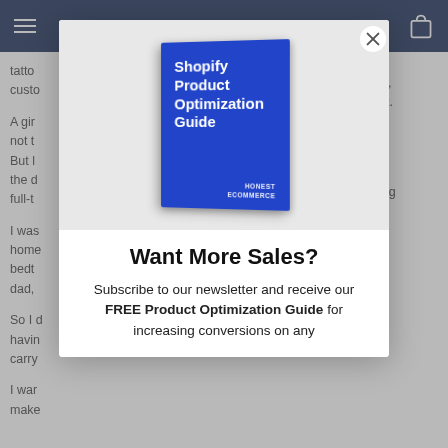Navigation bar with hamburger menu and bag icon
tatto ... custo ...
A gi ... yle, not t ... ent. But l ... g the d ... a full-t ...
I was ... m home ... ping bedt ... on dad, ...
So I d ... havin ... carry ...
I war ... make ...
[Figure (illustration): Modal popup showing a blue book cover for 'Shopify Product Optimization Guide' by Honest Ecommerce, displayed on a light gray background]
Want More Sales?
Subscribe to our newsletter and receive our FREE Product Optimization Guide for increasing conversions on any ...